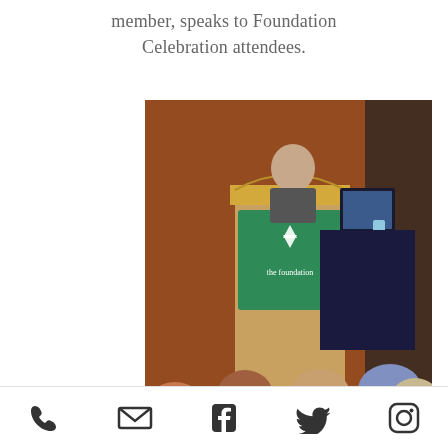member, speaks to Foundation Celebration attendees.
[Figure (photo): A speaker stands at a wooden podium with a Foundation logo banner, addressing a seated audience at a celebratory event. The room has warm wood-paneled walls and attendees are seen from behind.]
[Figure (infographic): Teal blue bar with a white checklist/vote icon graphic at the bottom of the photo]
Phone | Email | Facebook | Twitter | Instagram